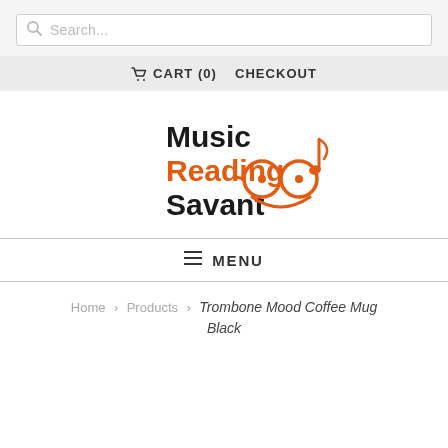Search...
CART (0)   CHECKOUT
[Figure (logo): Music Reading Savant logo with glasses and musical note]
MENU
Home > Products > Trombone Mood Coffee Mug Black